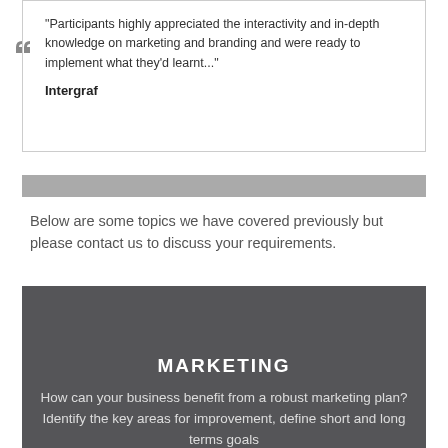"Participants highly appreciated the interactivity and in-depth knowledge on marketing and branding and were ready to implement what they'd learnt..."

Intergraf
[Figure (other): Grey horizontal bar divider]
Below are some topics we have covered previously but please contact us to discuss your requirements.
MARKETING
How can your business benefit from a robust marketing plan? Identify the key areas for improvement, define short and long terms goals